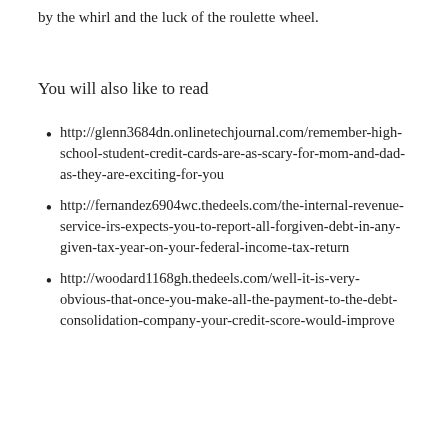by the whirl and the luck of the roulette wheel.
You will also like to read
http://glenn3684dn.onlinetechjournal.com/remember-high-school-student-credit-cards-are-as-scary-for-mom-and-dad-as-they-are-exciting-for-you
http://fernandez6904wc.thedeels.com/the-internal-revenue-service-irs-expects-you-to-report-all-forgiven-debt-in-any-given-tax-year-on-your-federal-income-tax-return
http://woodard1168gh.thedeels.com/well-it-is-very-obvious-that-once-you-make-all-the-payment-to-the-debt-consolidation-company-your-credit-score-would-improve